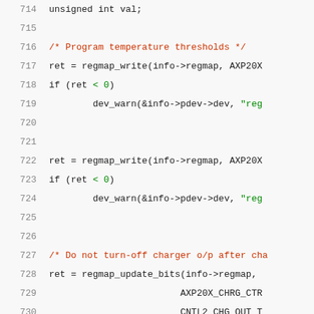[Figure (screenshot): Source code listing showing C code lines 714-734, with line numbers on left, syntax highlighted in monospace font. Comments in red, strings in green, code in dark/black.]